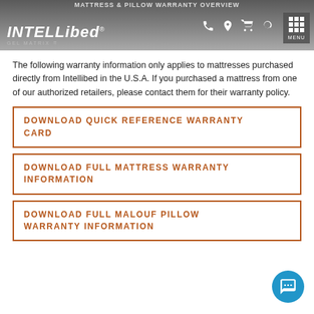MATTRESS & PILLOW WARRANTY OVERVIEW
The following warranty information only applies to mattresses purchased directly from Intellibed in the U.S.A. If you purchased a mattress from one of our authorized retailers, please contact them for their warranty policy.
DOWNLOAD QUICK REFERENCE WARRANTY CARD
DOWNLOAD FULL MATTRESS WARRANTY INFORMATION
DOWNLOAD FULL MALOUF PILLOW WARRANTY INFORMATION